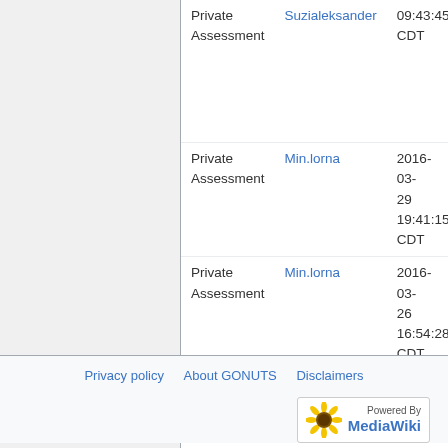| Action | User | Date/Time |  |
| --- | --- | --- | --- |
| Private Assessment | Suzialeksander | 09:43:45 CDT | Yo |
| Private Assessment | Min.lorna | 2016-03-29 19:41:15 CDT | Yo |
| Private Assessment | Min.lorna | 2016-03-26 16:54:28 CDT | Yo |
Privacy policy   About GONUTS   Disclaimers